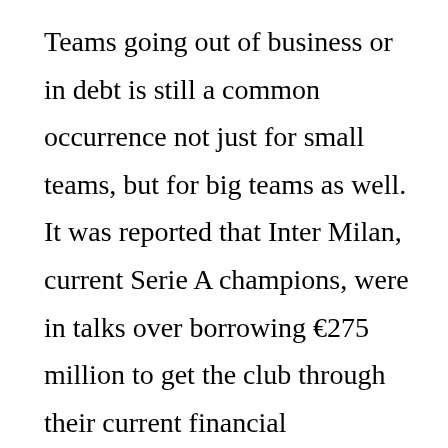Teams going out of business or in debt is still a common occurrence not just for small teams, but for big teams as well. It was reported that Inter Milan, current Serie A champions, were in talks over borrowing €275 million to get the club through their current financial difficulties.
Like most places in Europe, racism in football is rife. I'm sure everyone remembers Moise Kean celebrating in front of Cagliari ultras who had been racially abusing him all game.